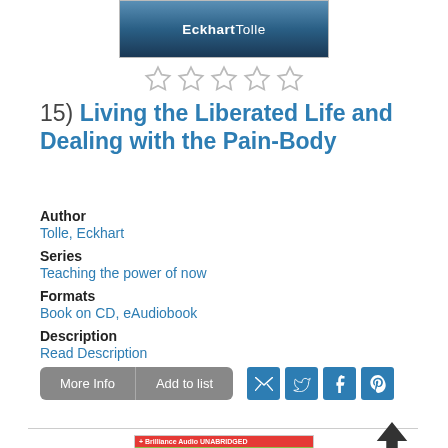[Figure (photo): Top portion of Eckhart Tolle book cover showing blue atmospheric background with author name 'Eckhart Tolle']
[Figure (other): Five empty star rating icons]
15) Living the Liberated Life and Dealing with the Pain-Body
Author
Tolle, Eckhart
Series
Teaching the power of now
Formats
Book on CD, eAudiobook
Description
Read Description
[Figure (other): Buttons: More Info and Add to list, plus social sharing icons for email, Twitter, Facebook, Pinterest]
[Figure (photo): Bottom book cover showing 'Trouble according to Humphrey' by Betty G. Birney, Brilliance Audio Unabridged edition]
[Figure (other): Up arrow icon for scrolling back to top]